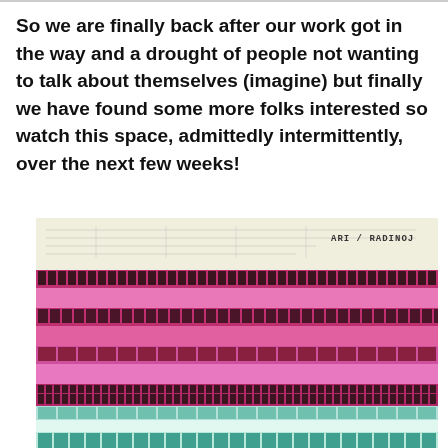So we are finally back after our work got in the way and a drought of people not wanting to talk about themselves (imagine) but finally we have found some more folks interested so watch this space, admittedly intermittently, over the next few weeks!
[Figure (photo): Composite image showing an architectural blueprint/drawing at top with 'ARI / RADINOJ' label, below which is a colorized photo of a large modernist building facade — upper portion rendered in hot pink/magenta tones showing rows of windows and balconies, lower portion in teal/mint green tones showing similar architectural elements.]